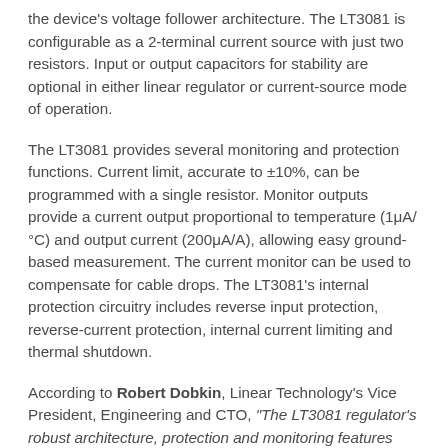the device's voltage follower architecture. The LT3081 is configurable as a 2-terminal current source with just two resistors. Input or output capacitors for stability are optional in either linear regulator or current-source mode of operation.
The LT3081 provides several monitoring and protection functions. Current limit, accurate to ±10%, can be programmed with a single resistor. Monitor outputs provide a current output proportional to temperature (1μA/°C) and output current (200μA/A), allowing easy ground-based measurement. The current monitor can be used to compensate for cable drops. The LT3081's internal protection circuitry includes reverse input protection, reverse-current protection, internal current limiting and thermal shutdown.
According to Robert Dobkin, Linear Technology's Vice President, Engineering and CTO, "The LT3081 regulator's robust architecture, protection and monitoring features provide designers with new tools for reliable design. A TO-220 package for high power dissipation and various surface mount packages for lower power applications are available.